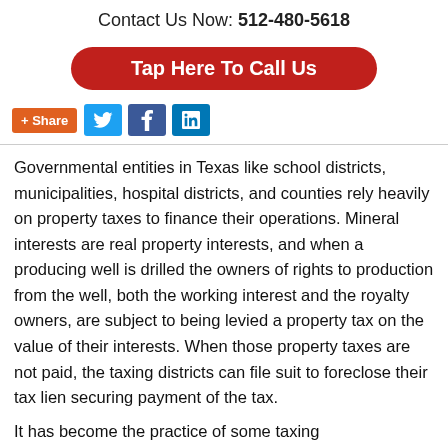Contact Us Now: 512-480-5618
[Figure (other): Red rounded button reading 'Tap Here To Call Us']
[Figure (other): Social share bar with +Share (orange), Twitter (blue bird), Facebook (f), LinkedIn (in) buttons]
Governmental entities in Texas like school districts, municipalities, hospital districts, and counties rely heavily on property taxes to finance their operations. Mineral interests are real property interests, and when a producing well is drilled the owners of rights to production from the well, both the working interest and the royalty owners, are subject to being levied a property tax on the value of their interests. When those property taxes are not paid, the taxing districts can file suit to foreclose their tax lien securing payment of the tax.
It has become the practice of some taxing